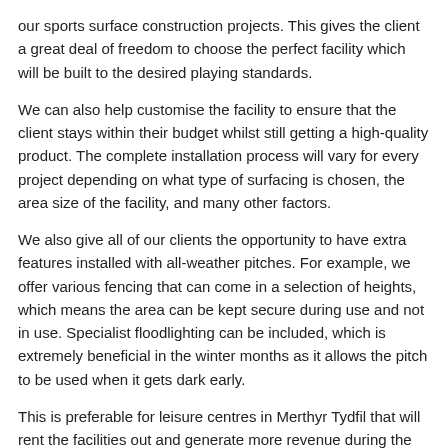our sports surface construction projects. This gives the client a great deal of freedom to choose the perfect facility which will be built to the desired playing standards.
We can also help customise the facility to ensure that the client stays within their budget whilst still getting a high-quality product. The complete installation process will vary for every project depending on what type of surfacing is chosen, the area size of the facility, and many other factors.
We also give all of our clients the opportunity to have extra features installed with all-weather pitches. For example, we offer various fencing that can come in a selection of heights, which means the area can be kept secure during use and not in use. Specialist floodlighting can be included, which is extremely beneficial in the winter months as it allows the pitch to be used when it gets dark early.
This is preferable for leisure centres in Merthyr Tydfil that will rent the facilities out and generate more revenue during the season.
Synthetic Pitch Maintenance